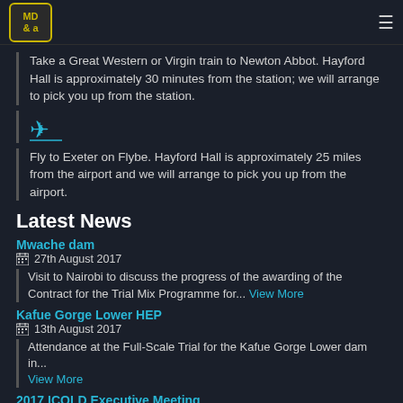MD & a
Take a Great Western or Virgin train to Newton Abbot. Hayford Hall is approximately 30 minutes from the station; we will arrange to pick you up from the station.
[Figure (illustration): Blue landing airplane icon]
Fly to Exeter on Flybe. Hayford Hall is approximately 25 miles from the airport and we will arrange to pick you up from the airport.
Latest News
Mwache dam
27th August 2017
Visit to Nairobi to discuss the progress of the awarding of the Contract for the Trial Mix Programme for... View More
Kafue Gorge Lower HEP
13th August 2017
Attendance at the Full-Scale Trial for the Kafue Gorge Lower dam in... View More
2017 ICOLD Executive Meeting
2nd July 2017